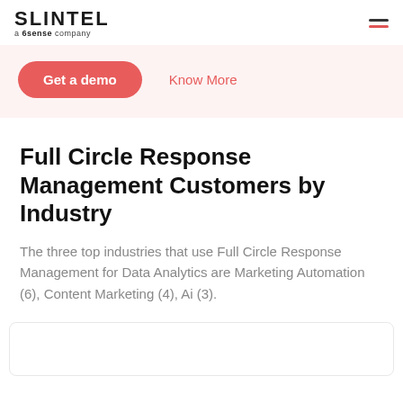SLINTEL a 6sense company
[Figure (screenshot): Get a demo button (red/salmon rounded pill) and Know More link in coral/red text on a light pink background band]
Full Circle Response Management Customers by Industry
The three top industries that use Full Circle Response Management for Data Analytics are Marketing Automation (6), Content Marketing (4), Ai (3).
[Figure (other): Bottom chart box area, partially visible white rounded rectangle with border]